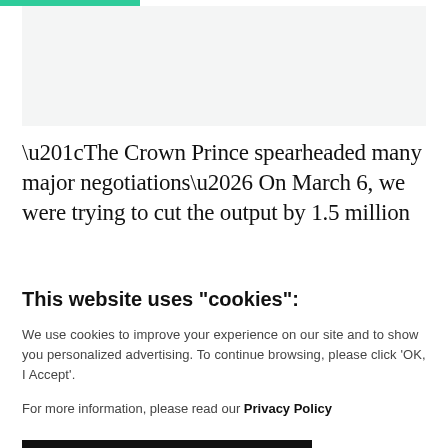[Figure (other): Green top bar accent strip and light gray image placeholder area]
“The Crown Prince spearheaded many major negotiations… On March 6, we were trying to cut the output by 1.5 million
This website uses "cookies":
We use cookies to improve your experience on our site and to show you personalized advertising. To continue browsing, please click ‘OK, I Accept’.
For more information, please read our Privacy Policy
Ok, I Accept